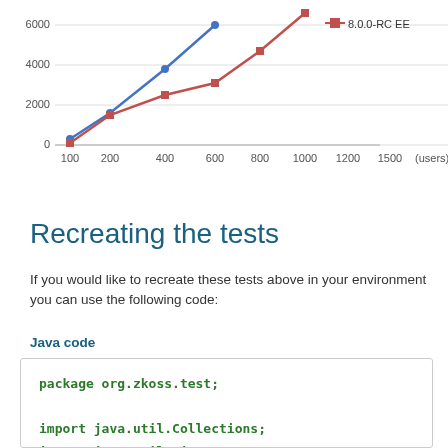[Figure (line-chart): ]
Recreating the tests
If you would like to recreate these tests above in your environment you can use the following code:
Java code
package org.zkoss.test;

import java.util.Collections;
import java.util.List;